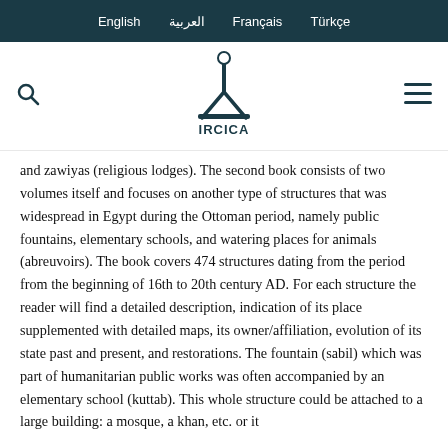English  العربية  Français  Türkçe
[Figure (logo): IRCICA organization logo with stylized lamp/torch symbol above the text IRCICA]
and zawiyas (religious lodges). The second book consists of two volumes itself and focuses on another type of structures that was widespread in Egypt during the Ottoman period, namely public fountains, elementary schools, and watering places for animals (abreuvoirs). The book covers 474 structures dating from the period from the beginning of 16th to 20th century AD. For each structure the reader will find a detailed description, indication of its place supplemented with detailed maps, its owner/affiliation, evolution of its state past and present, and restorations. The fountain (sabil) which was part of humanitarian public works was often accompanied by an elementary school (kuttab). This whole structure could be attached to a large building: a mosque, a khan, etc. or it